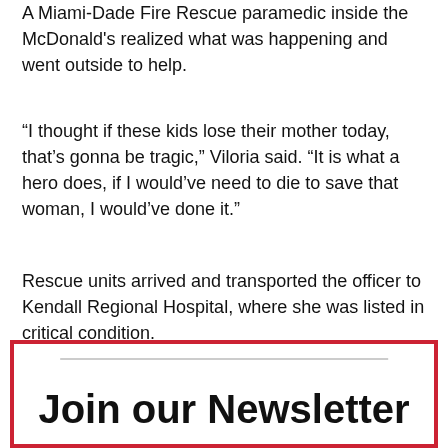A Miami-Dade Fire Rescue paramedic inside the McDonald's realized what was happening and went outside to help.
“I thought if these kids lose their mother today, that’s gonna be tragic,” Viloria said. “It is what a hero does, if I would’ve need to die to save that woman, I would’ve done it.”
Rescue units arrived and transported the officer to Kendall Regional Hospital, where she was listed in critical condition.
Copyright 2022 Sunbeam Television Corp. All rights reserved. This material may not be published, broadcast, rewritten or redistributed.
Join our Newsletter